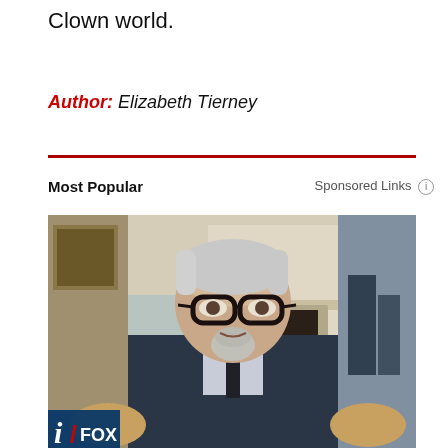Clown world.
Author: Elizabeth Tierney
Most Popular
Sponsored Links
[Figure (photo): A man with white/grey hair, thick black-rimmed glasses, and a goatee wearing a dark suit and tie, gesturing with both hands. A fireplace and bronze buffalo statue are visible in the background. A Fox News logo appears in the lower left corner.]